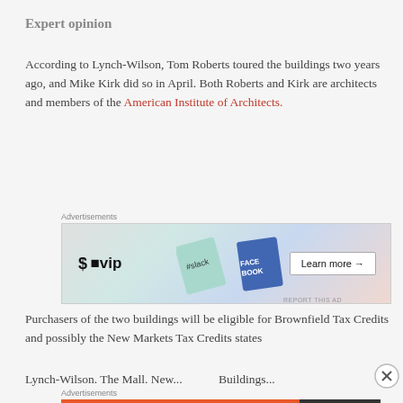Expert opinion
According to Lynch-Wilson, Tom Roberts toured the buildings two years ago, and Mike Kirk did so in April. Both Roberts and Kirk are architects and members of the American Institute of Architects.
[Figure (other): WordPress VIP advertisement banner with social media icons and 'Learn more' button]
Purchasers of the two buildings will be eligible for Brownfield Tax Credits and possibly the New Markets Tax Credits states Lynch-Wilson. The Mall. New... Buildings...
[Figure (other): DuckDuckGo advertisement: Search, browse, and email with more privacy. All in One Free App]